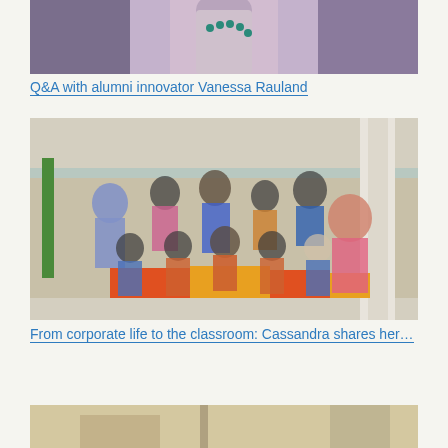[Figure (photo): Close-up photo of a person wearing a light purple/mauve top with a teal beaded necklace, partial view showing torso and necklace area]
Q&A with alumni innovator Vanessa Rauland
[Figure (photo): Group photo of adults and children in school uniforms (orange and green) posing together outdoors in front of a building, some waving and smiling]
From corporate life to the classroom: Cassandra shares her…
[Figure (photo): Partial view of outdoor scene, bottom portion cut off]